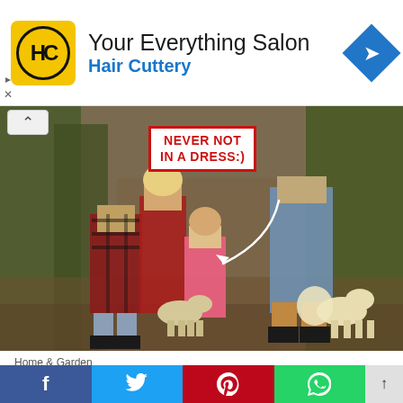[Figure (logo): Hair Cuttery ad banner with HC logo, 'Your Everything Salon' title and 'Hair Cuttery' subtitle, blue navigation diamond icon]
[Figure (photo): Family of four walking away on a forest path with two golden dogs; a girl in pink highlighted with arrow and sign reading 'NEVER NOT IN A DRESS:)']
Home & Garden
The 8 Back-To-School Dresses Emily And Birdie Picked Out Together (+ 24 Other Affordable CUTE
[Figure (infographic): Social sharing bar with Facebook, Twitter, Pinterest, WhatsApp buttons and scroll-up arrow]